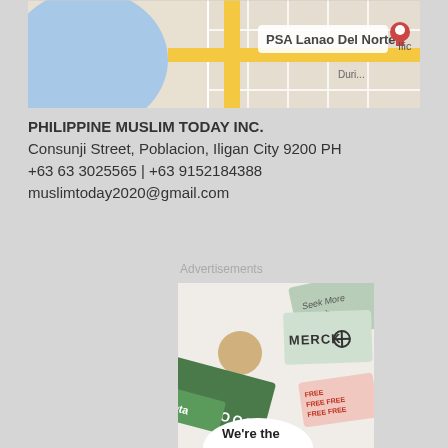[Figure (map): Google Maps screenshot showing PSA Lanao Del Norte location in Iligan City with street grid and yellow roads]
PHILIPPINE MUSLIM TODAY INC.
Consunji Street, Poblacion, Iligan City 9200 PH
+63 63 3025565 | +63 9152184388
muslimtoday2020@gmail.com
Advertisements
[Figure (photo): Advertisement image showing overlapping business cards including Merck, Facebook, and other brands with text 'We're the' at the bottom]